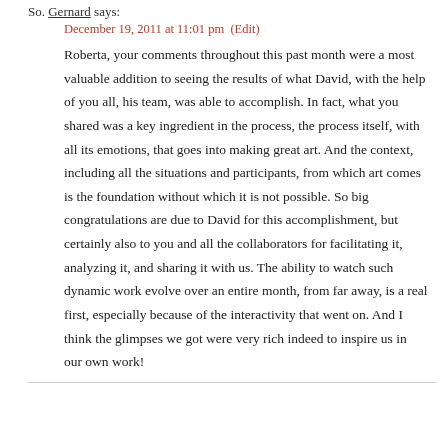So. Gernard says:
December 19, 2011 at 11:01 pm  (Edit)
Roberta, your comments throughout this past month were a most valuable addition to seeing the results of what David, with the help of you all, his team, was able to accomplish. In fact, what you shared was a key ingredient in the process, the process itself, with all its emotions, that goes into making great art. And the context, including all the situations and participants, from which art comes is the foundation without which it is not possible. So big congratulations are due to David for this accomplishment, but certainly also to you and all the collaborators for facilitating it, analyzing it, and sharing it with us. The ability to watch such dynamic work evolve over an entire month, from far away, is a real first, especially because of the interactivity that went on. And I think the glimpses we got were very rich indeed to inspire us in our own work!